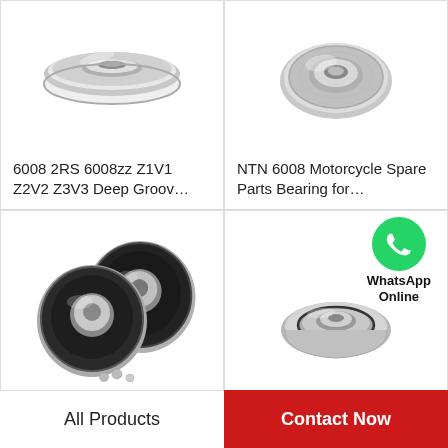[Figure (photo): Close-up photo of a deep groove ball bearing (6008 2RS/6008zz) with metal shield, shown from slight angle, silver/chrome colored]
6008 2RS 6008zz Z1V1 Z2V2 Z3V3 Deep Groov…
[Figure (photo): Close-up photo of an NTN 6008 motorcycle spare parts bearing, metal shielded, silver/chrome, shown from above at angle]
NTN 6008 Motorcycle Spare Parts Bearing for…
[Figure (photo): Two rubber-sealed ball bearings (6008 2RS type) shown together, black rubber seal visible, silver metal body]
[Figure (photo): A small metal-shielded ball bearing (V-groove type) with a WhatsApp Online contact icon above it (green phone icon with text WhatsApp Online)]
All Products
Contact Now